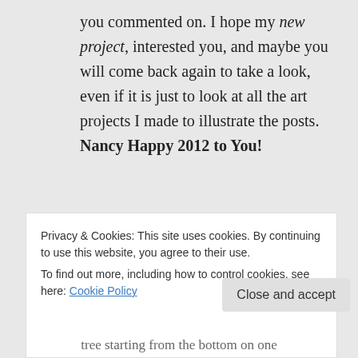you commented on. I hope my new project, interested you, and maybe you will come back again to take a look, even if it is just to look at all the art projects I made to illustrate the posts. Nancy Happy 2012 to You!
↳ Reply
Nancy Forgette on January 17, 2012 at
Privacy & Cookies: This site uses cookies. By continuing to use this website, you agree to their use.
To find out more, including how to control cookies, see here: Cookie Policy
Close and accept
tree starting from the bottom on one